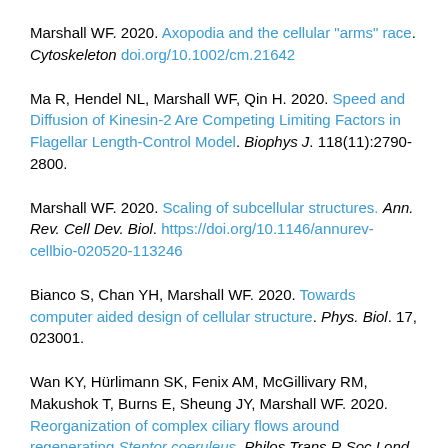Marshall WF. 2020. Axopodia and the cellular "arms" race. Cytoskeleton doi.org/10.1002/cm.21642
Ma R, Hendel NL, Marshall WF, Qin H. 2020. Speed and Diffusion of Kinesin-2 Are Competing Limiting Factors in Flagellar Length-Control Model. Biophys J. 118(11):2790-2800.
Marshall WF. 2020. Scaling of subcellular structures. Ann. Rev. Cell Dev. Biol. https://doi.org/10.1146/annurev-cellbio-020520-113246
Bianco S, Chan YH, Marshall WF. 2020. Towards computer aided design of cellular structure. Phys. Biol. 17, 023001.
Wan KY, Hürlimann SK, Fenix AM, McGillivary RM, Makushok T, Burns E, Sheung JY, Marshall WF. 2020. Reorganization of complex ciliary flows around regenerating Stentor coeruleus. Philos Trans R Soc Lond